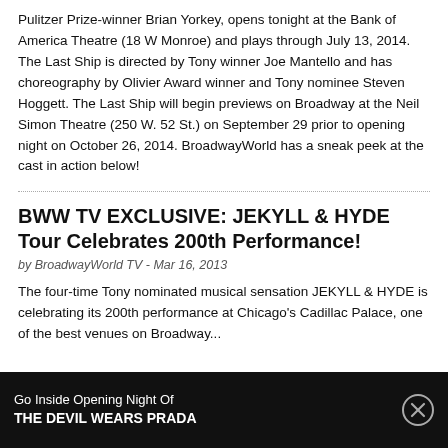Pulitzer Prize-winner Brian Yorkey, opens tonight at the Bank of America Theatre (18 W Monroe) and plays through July 13, 2014. The Last Ship is directed by Tony winner Joe Mantello and has choreography by Olivier Award winner and Tony nominee Steven Hoggett. The Last Ship will begin previews on Broadway at the Neil Simon Theatre (250 W. 52 St.) on September 29 prior to opening night on October 26, 2014. BroadwayWorld has a sneak peek at the cast in action below!
BWW TV EXCLUSIVE: JEKYLL & HYDE Tour Celebrates 200th Performance!
by BroadwayWorld TV - Mar 16, 2013
The four-time Tony nominated musical sensation JEKYLL & HYDE is celebrating its 200th performance at Chicago's Cadillac Palace, one of the best venues on Broadway...
Go Inside Opening Night Of THE DEVIL WEARS PRADA